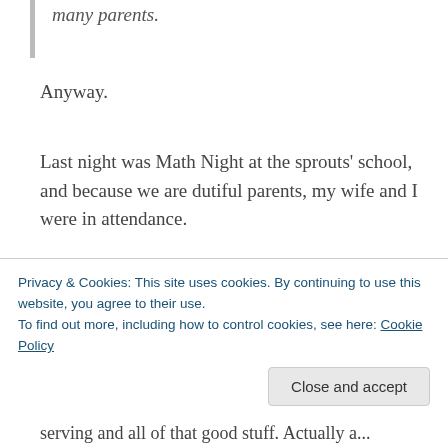many parents.
Anyway.
Last night was Math Night at the sprouts' school, and because we are dutiful parents, my wife and I were in attendance.
And, I mean, maybe I'm dumb for thinking Math Night is going to be some sort of *event* — you know, a math-themed sort of celebration with games and events and all. (This is at an elementary
Privacy & Cookies: This site uses cookies. By continuing to use this website, you agree to their use.
To find out more, including how to control cookies, see here: Cookie Policy
serving and all of that good stuff. Actually a...